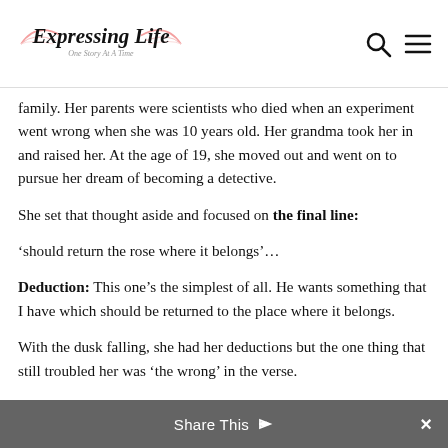Expressing Life — One Story At A Time
family. Her parents were scientists who died when an experiment went wrong when she was 10 years old. Her grandma took her in and raised her. At the age of 19, she moved out and went on to pursue her dream of becoming a detective.
She set that thought aside and focused on the final line:
'should return the rose where it belongs'…
Deduction: This one's the simplest of all. He wants something that I have which should be returned to the place where it belongs.
With the dusk falling, she had her deductions but the one thing that still troubled her was 'the wrong' in the verse.
Share This ×